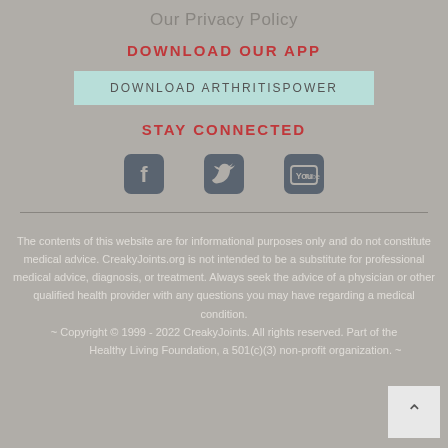Our Privacy Policy
DOWNLOAD OUR APP
DOWNLOAD ARTHRITISPOWER
STAY CONNECTED
[Figure (illustration): Three social media icons: Facebook, Twitter, YouTube]
The contents of this website are for informational purposes only and do not constitute medical advice. CreakyJoints.org is not intended to be a substitute for professional medical advice, diagnosis, or treatment. Always seek the advice of a physician or other qualified health provider with any questions you may have regarding a medical condition. ~ Copyright © 1999 - 2022 CreakyJoints. All rights reserved. Part of the Healthy Living Foundation, a 501(c)(3) non-profit organization. ~